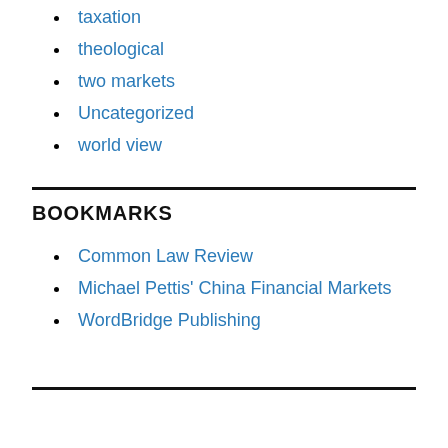taxation
theological
two markets
Uncategorized
world view
BOOKMARKS
Common Law Review
Michael Pettis' China Financial Markets
WordBridge Publishing